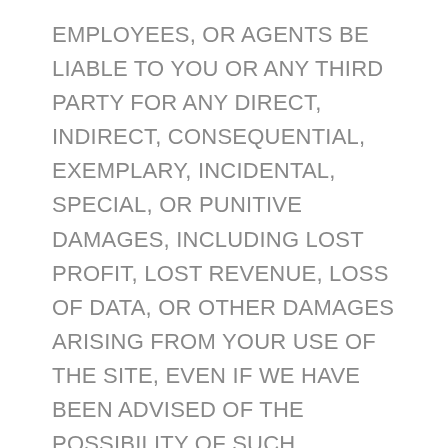EMPLOYEES, OR AGENTS BE LIABLE TO YOU OR ANY THIRD PARTY FOR ANY DIRECT, INDIRECT, CONSEQUENTIAL, EXEMPLARY, INCIDENTAL, SPECIAL, OR PUNITIVE DAMAGES, INCLUDING LOST PROFIT, LOST REVENUE, LOSS OF DATA, OR OTHER DAMAGES ARISING FROM YOUR USE OF THE SITE, EVEN IF WE HAVE BEEN ADVISED OF THE POSSIBILITY OF SUCH DAMAGES. NOTWITHSTANDING ANYTHING TO THE CONTRARY CONTAINED HEREIN, OUR LIABILITY TO YOU FOR ANY CAUSE WHATSOEVER AND REGARDLESS OF THE FORM OF THE ACTION, WILL AT ALL TIMES BE LIMITED TO THE AMOUNT PAID, IF ANY, BY YOU TO US DURING THE SIX (6) MONTH PERIOD PRIOR TO ANY CAUSE OF ACTION ARISING. CERTAIN US STATE LAWS AND